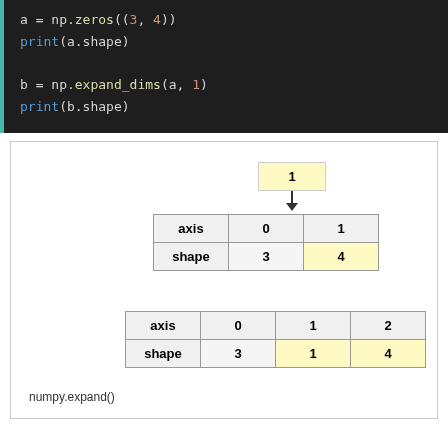[Figure (screenshot): Python code block showing: a = np.zeros((3, 4)), print(a.shape), b = np.expand_dims(a, 1), print(b.shape)]
[Figure (infographic): Diagram showing a 2D array with axis table: axis 0 1, shape 3 4. An arrow pointing down from a highlighted cell labeled '1' to axis=1 column. Label shows Japanese characters for 'array'.]
[Figure (infographic): Diagram showing a 3D array with axis table: axis 0 1 2, shape 3 1 4. The shape row has yellow background for cells 1 and 4. Label shows Japanese characters for 'array'.]
numpy.expand()